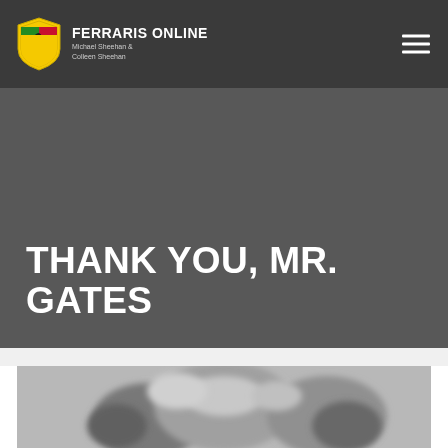[Figure (logo): Ferraris Online logo with Ferrari shield (yellow shield with black prancing horse) and site name 'FERRARIS ONLINE' with subtitle 'Michael Sheehan & Colleen Sheehan']
THANK YOU, MR. GATES
[Figure (photo): Black and white blurry close-up photo of a person's face, appearing to be an older man]